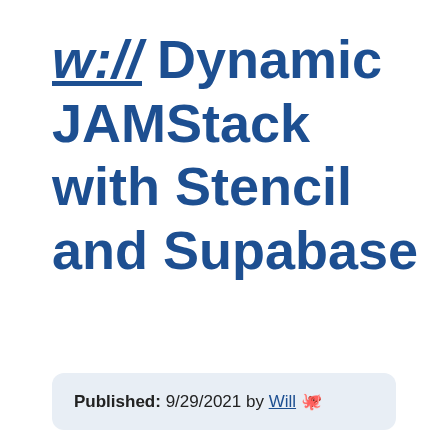w:// Dynamic JAMStack with Stencil and Supabase
Published: 9/29/2021 by Will 🐙